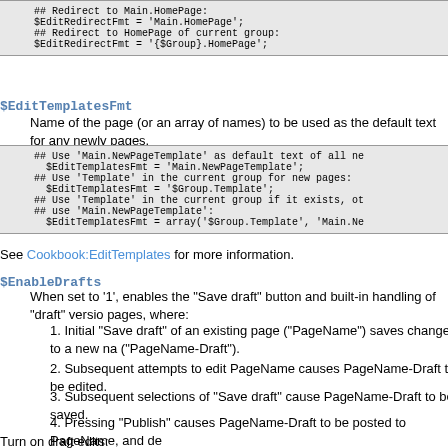[Figure (screenshot): Code block showing EditRedirectFmt examples: ## Redirect to Main.HomePage: $EditRedirectFmt = 'Main.HomePage'; ## Redirect to HomePage of current group: $EditRedirectFmt = '{$Group}.HomePage';]
$EditTemplatesFmt
Name of the page (or an array of names) to be used as the default text for any newly pages.
[Figure (screenshot): Code block showing EditTemplatesFmt examples]
See Cookbook:EditTemplates for more information.
$EnableDrafts
When set to '1', enables the "Save draft" button and built-in handling of "draft" versio pages, where:
1. Initial "Save draft" of an existing page ("PageName") saves changes to a new na ("PageName-Draft").
2. Subsequent attempts to edit PageName causes PageName-Draft to be edited.
3. Subsequent selections of "Save draft" cause PageName-Draft to be saved.
4. Pressing "Publish" causes PageName-Draft to be posted to PageName, and de
Turn on draft edits:
[Figure (screenshot): Code block showing $EnableDrafts = 1; example (partial)]